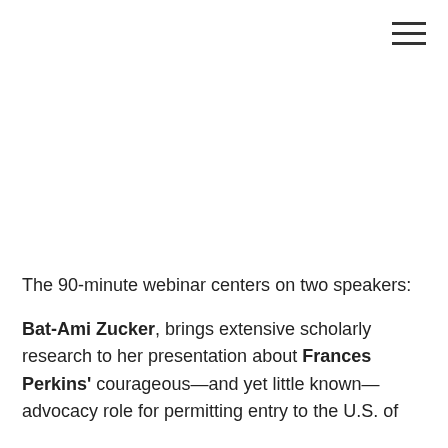[Figure (other): Hamburger menu icon (three horizontal lines) in the top-right corner]
The 90-minute webinar centers on two speakers:
Bat-Ami Zucker, brings extensive scholarly research to her presentation about Frances Perkins' courageous—and yet little known—advocacy role for permitting entry to the U.S. of